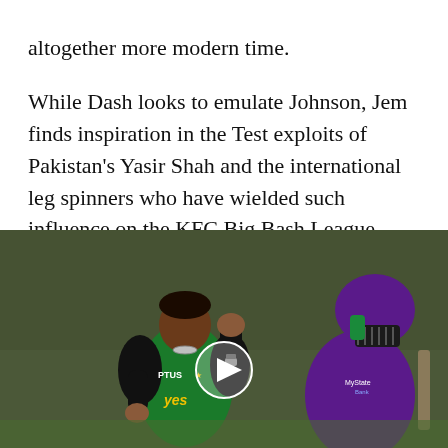altogether more modern time.
While Dash looks to emulate Johnson, Jem finds inspiration in the Test exploits of Pakistan's Yasir Shah and the international leg spinners who have wielded such influence on the KFC Big Bash League – West Indies' Samuel Badree, Afghanistan's Rashid Khan, Nepalese teenager Sandeep Lamichhane.
[Figure (photo): Cricket match photo showing a bowler in green Melbourne Stars kit celebrating with fist pump, and a batsman in purple Hobart Hurricanes kit with helmet, blurred crowd background. A play button icon is overlaid in the center.]